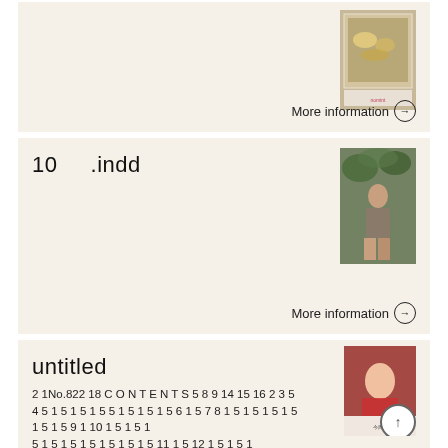[Figure (photo): Thumbnail image of food/snacks in a polaroid-style frame with text]
More information →
10      .indd
[Figure (photo): Fashion photo of a woman seated among foliage]
More information →
untitled
2 1No.822 18 C O N T E N T S 5 8 9 14 15 16 2 3 5 4 5 1 5 1 5 1 5 5 1 5 1 5 1 5 6 1 5 7 8 1 5 1 5 1 5 1 5 1 5 1 5 9 1 10 1 5 1 5 1 5 1 5 1 5 1 5 1 5 1 5 1 5 1 5 1 5 11 1 5 12 1 5 1 5 1 5 1 5 1 5 1 5 7 1 5 1 5
[Figure (photo): Magazine cover thumbnail with a person in red]